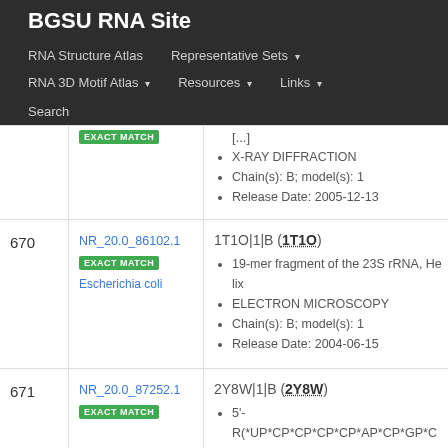BGSU RNA Site
RNA Structure Atlas
Representative Sets
RNA 3D Motif Atlas
Resources
Links
Search
| # | ID | Info |
| --- | --- | --- |
|  | EXACT MATCH | [...]
X-RAY DIFFRACTION
Chain(s): B; model(s): 1
Release Date: 2005-12-13 |
| 670 | NR_20.0_86102.1
EXACT MATCH
Escherichia coli | 1T1O|1|B (1T1O)
19-mer fragment of the 23S rRNA, Helix
ELECTRON MICROSCOPY
Chain(s): B; model(s): 1
Release Date: 2004-06-15 |
| 671 | NR_20.0_87252.1
EXACT MATCH | 2Y8W|1|B (2Y8W)
5'-R(*UP*CP*CP*CP*CP*AP*CP*GP*CP*G
X-RAY DIFFRACTION |